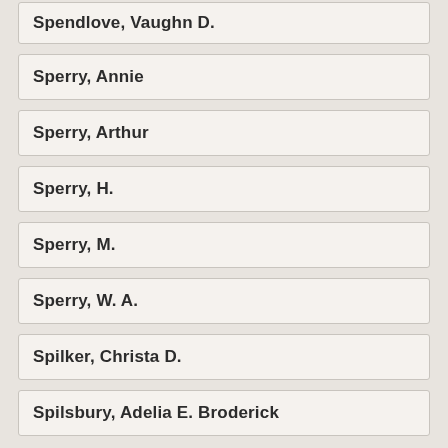Spendlove, Vaughn D.
Sperry, Annie
Sperry, Arthur
Sperry, H.
Sperry, M.
Sperry, W. A.
Spilker, Christa D.
Spilsbury, Adelia E. Broderick